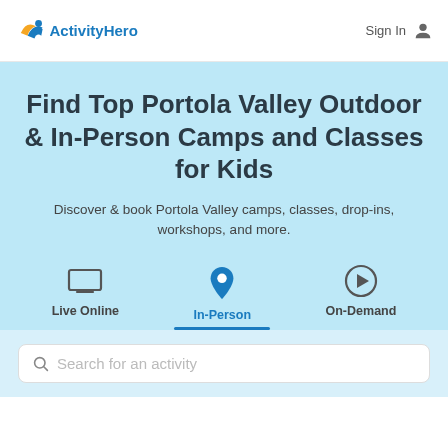ActivityHero | Sign In
Find Top Portola Valley Outdoor & In-Person Camps and Classes for Kids
Discover & book Portola Valley camps, classes, drop-ins, workshops, and more.
[Figure (infographic): Three navigation tabs: Live Online (laptop icon), In-Person (blue map pin icon, active/selected with blue underline), On-Demand (play button icon)]
Search for an activity